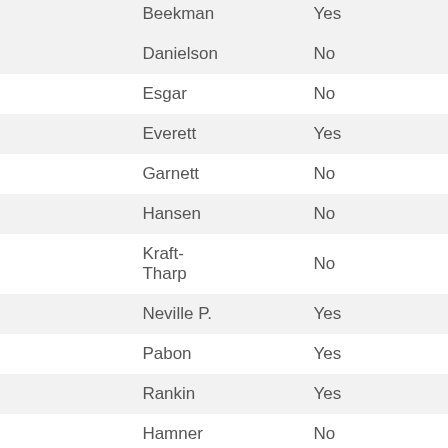|  | Name | Vote |
| --- | --- | --- |
|  | Beekman | Yes |
|  | Danielson | No |
|  | Esgar | No |
|  | Everett | Yes |
|  | Garnett | No |
|  | Hansen | No |
|  | Kraft-Tharp | No |
|  | Neville P. | Yes |
|  | Pabon | Yes |
|  | Rankin | Yes |
|  | Hamner | No |